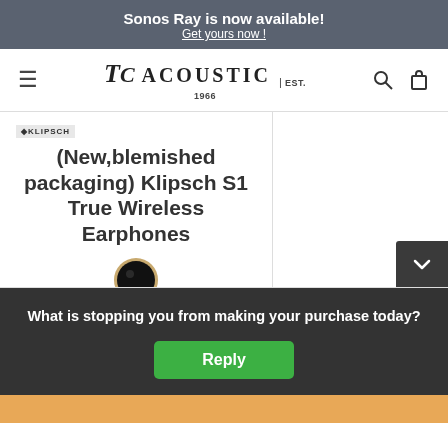Sonos Ray is now available!
Get yours now!
[Figure (logo): TC Acoustic EST. 1966 logo with hamburger menu, search and cart icons]
[Figure (logo): Klipsch brand logo]
(New,blemished packaging) Klipsch S1 True Wireless Earphones
[Figure (other): Black color swatch circle with gold border]
HK$1,299 HK$599
What is stopping you from making your purchase today?
Reply